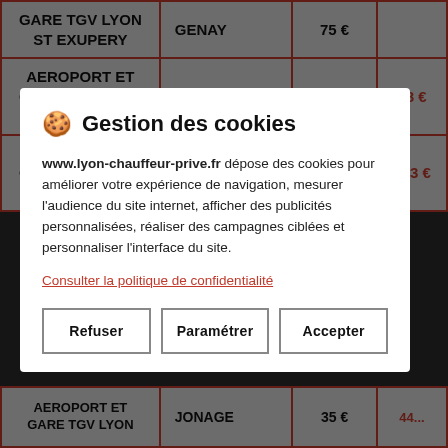| DÉPART | DESTINATION | TARIF NUIT | TARIF JOUR |
| --- | --- | --- | --- |
| GARE TGV LYON ST EXUPERY | GENAY | 75 € |  |
| AEROPORT ET GARE TGV LYON ST EXUPERY | GIVORS | 70 € | 88 € |
| AEROPORT ET GARE TGV LYON ST EXUPERY | GLEIZE | 98 € | 123 € |
| AEROPORT ET GARE TGV LYON | JONAGE | 35 € | 44 € |
🍪 Gestion des cookies

www.lyon-chauffeur-prive.fr dépose des cookies pour améliorer votre expérience de navigation, mesurer l'audience du site internet, afficher des publicités personnalisées, réaliser des campagnes ciblées et personnaliser l'interface du site.

Consulter la politique de confidentialité

Refuser | Paramétrer | Accepter